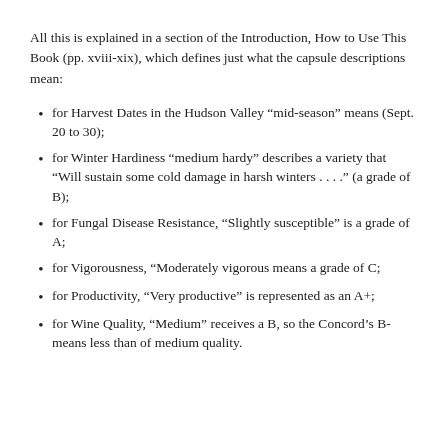All this is explained in a section of the Introduction, How to Use This Book (pp. xviii-xix), which defines just what the capsule descriptions mean:
for Harvest Dates in the Hudson Valley “mid-season” means (Sept. 20 to 30);
for Winter Hardiness “medium hardy” describes a variety that “Will sustain some cold damage in harsh winters . . . .” (a grade of B);
for Fungal Disease Resistance, “Slightly susceptible” is a grade of A;
for Vigorousness, “Moderately vigorous means a grade of C;
for Productivity, “Very productive” is represented as an A+;
for Wine Quality, “Medium” receives a B, so the Concord’s B- means less than of medium quality.